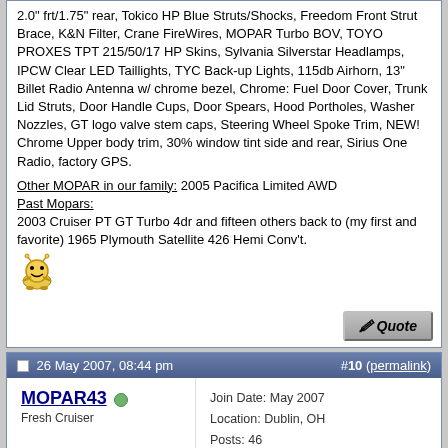2.0" frt/1.75" rear, Tokico HP Blue Struts/Shocks, Freedom Front Strut Brace, K&N Filter, Crane FireWires, MOPAR Turbo BOV, TOYO PROXES TPT 215/50/17 HP Skins, Sylvania Silverstar Headlamps, IPCW Clear LED Taillights, TYC Back-up Lights, 115db Airhorn, 13" Billet Radio Antenna w/ chrome bezel, Chrome: Fuel Door Cover, Trunk Lid Struts, Door Handle Cups, Door Spears, Hood Portholes, Washer Nozzles, GT logo valve stem caps, Steering Wheel Spoke Trim, NEW! Chrome Upper body trim, 30% window tint side and rear, Sirius One Radio, factory GPS.
Other MOPAR in our family: 2005 Pacifica Limited AWD
Past Mopars:
2003 Cruiser PT GT Turbo 4dr and fifteen others back to (my first and favorite) 1965 Plymouth Satellite 426 Hemi Conv't.
[Figure (other): Smiley face emoji]
26 May 2007, 08:44 pm
#10 (permalink)
MOPAR43
Fresh Cruiser
Join Date: May 2007
Location: Dublin, OH
Posts: 46
MOPAR43's Gallery
Re: Auto Trans shifter quit on me....
Bob, had to tell you how fascinating your other links are, especially your backyard railroad (my wife asks do you bring